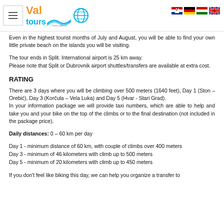[Figure (logo): Val Tours travel agency logo with orange and blue text, wave graphic, globe icon, hamburger menu, and language flag icons (Croatian, German, Hungarian, English)]
Even in the highest tourist months of July and August, you will be able to find your own little private beach on the islands you will be visiting.
The tour ends in Split. International airport is 25 km away.
Please note that Split or Dubrovnik airport shuttles/transfers are available at extra cost.
RATING
There are 3 days where you will be climbing over 500 meters (1640 feet), Day 1 (Ston – Orebić), Day 3 (Korčula – Vela Luka) and Day 5 (Hvar - Stari Grad).
In your information package we will provide taxi numbers, which are able to help and take you and your bike on the top of the climbs or to the final destination (not included in the package price).
Daily distances: 0 – 60 km per day
Day 1 - minimum distance of 60 km, with couple of climbs over 400 meters
Day 3 - minimum of 46 kilometers with climb up to 500 meters
Day 5 - minimum of 20 kilometers with climb up to 450 meters
If you don't feel like biking this day, we can help you organize a transfer to